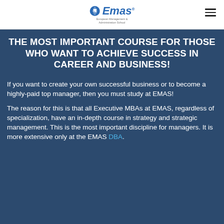[Figure (logo): Emas logo with globe/arrow icon and text 'Emas European Management & Administration School']
THE MOST IMPORTANT COURSE FOR THOSE WHO WANT TO ACHIEVE SUCCESS IN CAREER AND BUSINESS!
If you want to create your own successful business or to become a highly-paid top manager, then you must study at EMAS!
The reason for this is that all Executive MBAs at EMAS, regardless of specialization, have an in-depth course in strategy and strategic management. This is the most important discipline for managers. It is more extensive only at the EMAS DBA.